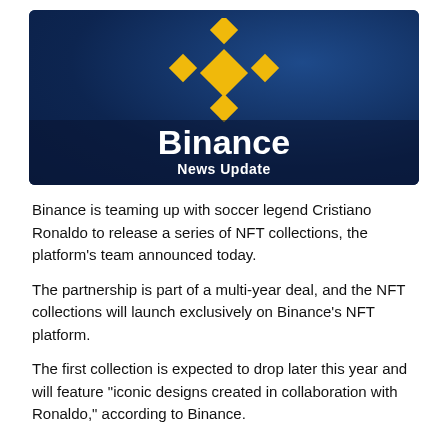[Figure (logo): Binance News Update banner with Binance logo (yellow diamond shapes) on dark blue background, with bold white 'Binance' text and 'News Update' subtitle]
Binance is teaming up with soccer legend Cristiano Ronaldo to release a series of NFT collections, the platform's team announced today.
The partnership is part of a multi-year deal, and the NFT collections will launch exclusively on Binance's NFT platform.
The first collection is expected to drop later this year and will feature "iconic designs created in collaboration with Ronaldo," according to Binance.